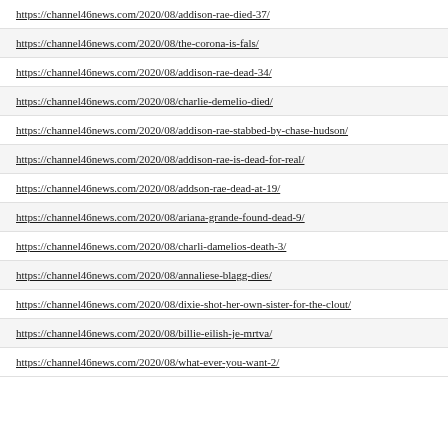https://channel46news.com/2020/08/addison-rae-died-37/
https://channel46news.com/2020/08/the-corona-is-fals/
https://channel46news.com/2020/08/addison-rae-dead-34/
https://channel46news.com/2020/08/charlie-demelio-died/
https://channel46news.com/2020/08/addison-rae-stabbed-by-chase-hudson/
https://channel46news.com/2020/08/addison-rae-is-dead-for-real/
https://channel46news.com/2020/08/addson-rae-dead-at-19/
https://channel46news.com/2020/08/ariana-grande-found-dead-9/
https://channel46news.com/2020/08/charli-damelios-death-3/
https://channel46news.com/2020/08/annaliese-blagg-dies/
https://channel46news.com/2020/08/dixie-shot-her-own-sister-for-the-clout/
https://channel46news.com/2020/08/billie-eilish-je-mrtva/
https://channel46news.com/2020/08/what-ever-you-want-2/